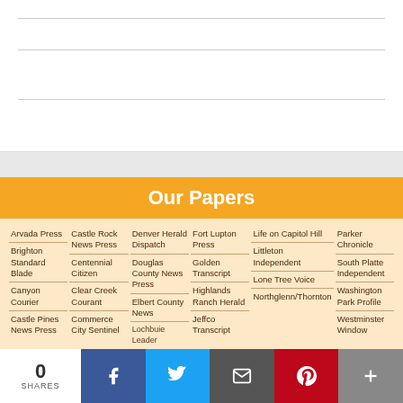Our Papers
Arvada Press
Brighton Standard Blade
Canyon Courier
Castle Pines News Press
Castle Rock News Press
Centennial Citizen
Clear Creek Courant
Commerce City Sentinel
Denver Herald Dispatch
Douglas County News Press
Elbert County News
Fort Lupton Press
Golden Transcript
Highlands Ranch Herald
Jeffco Transcript
Life on Capitol Hill
Littleton Independent
Lone Tree Voice
Northglenn/Thornton
Parker Chronicle
South Platte Independent
Washington Park Profile
Westminster Window
0 SHARES